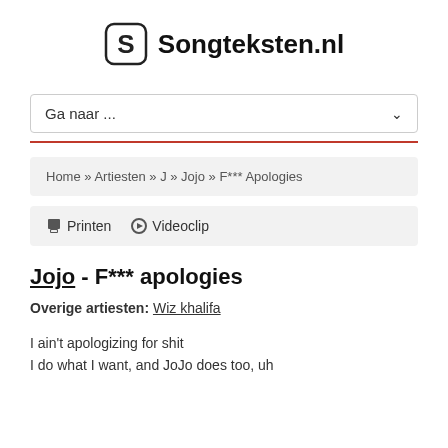Songteksten.nl
Ga naar ...
Home » Artiesten » J » Jojo » F*** Apologies
Printen  Videoclip
Jojo - F*** apologies
Overige artiesten: Wiz khalifa
I ain't apologizing for shit
I do what I want, and JoJo does too, uh